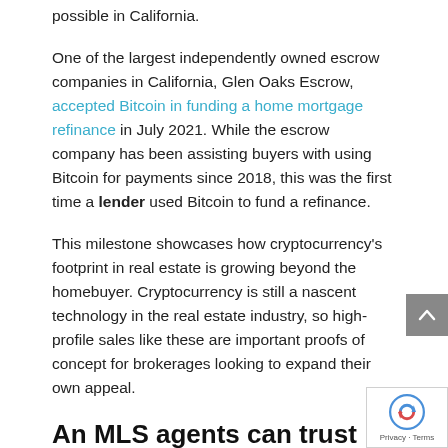possible in California.
One of the largest independently owned escrow companies in California, Glen Oaks Escrow, accepted Bitcoin in funding a home mortgage refinance in July 2021. While the escrow company has been assisting buyers with using Bitcoin for payments since 2018, this was the first time a lender used Bitcoin to fund a refinance.
This milestone showcases how cryptocurrency's footprint in real estate is growing beyond the homebuyer. Cryptocurrency is still a nascent technology in the real estate industry, so high-profile sales like these are important proofs of concept for brokerages looking to expand their own appeal.
An MLS agents can trust